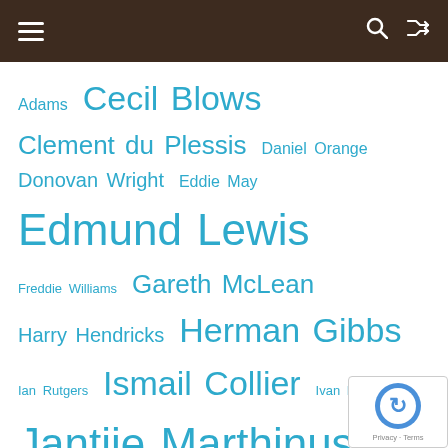Navigation bar with hamburger menu, search and shuffle icons
Adams Cecil Blows Clement du Plessis Daniel Orange Donovan Wright Eddie May Edmund Lewis Freddie Williams Gareth McLean Harry Hendricks Herman Gibbs Ian Rutgers Ismail Collier Ivan Masters Jantjie Marthinus Johan Landsman John September John Wippenaar Jowaine Parrott Kenny Roman Leon Pietersen Martin Saayman Michael Toll Mohammed Paleker Nazeem Smith Norman Stoffberg Odessa Krause O Machelm Richard Rive Robin April Roslyn M